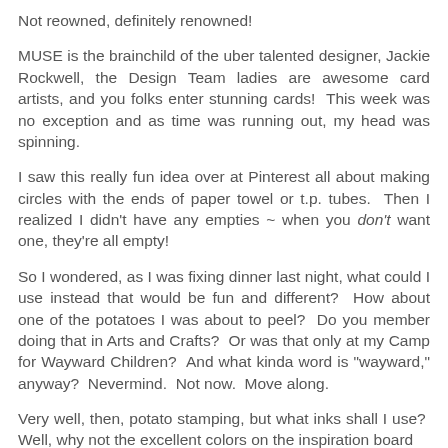Not reowned, definitely renowned!
MUSE is the brainchild of the uber talented designer, Jackie Rockwell, the Design Team ladies are awesome card artists, and you folks enter stunning cards!  This week was no exception and as time was running out, my head was spinning.
I saw this really fun idea over at Pinterest all about making circles with the ends of paper towel or t.p. tubes.  Then I realized I didn't have any empties ~ when you don't want one, they're all empty!
So I wondered, as I was fixing dinner last night, what could I use instead that would be fun and different?  How about one of the potatoes I was about to peel?  Do you member doing that in Arts and Crafts?  Or was that only at my Camp for Wayward Children?  And what kinda word is "wayward," anyway?  Nevermind.  Not now.  Move along.
Very well, then, potato stamping, but what inks shall I use?  Well, why not the excellent colors on the inspiration board